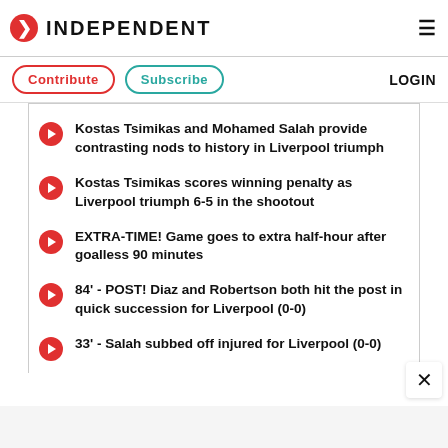INDEPENDENT
Kostas Tsimikas and Mohamed Salah provide contrasting nods to history in Liverpool triumph
Kostas Tsimikas scores winning penalty as Liverpool triumph 6-5 in the shootout
EXTRA-TIME! Game goes to extra half-hour after goalless 90 minutes
84' - POST! Diaz and Robertson both hit the post in quick succession for Liverpool (0-0)
33' - Salah subbed off injured for Liverpool (0-0)